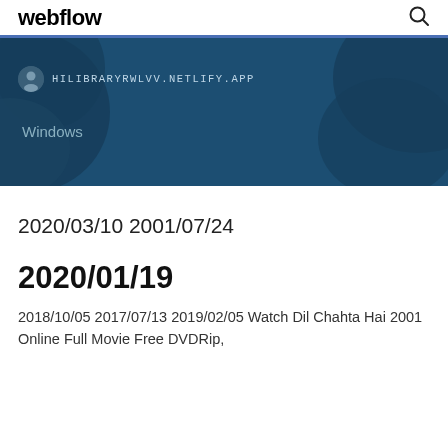webflow
[Figure (screenshot): Blue hero banner with map background showing HILIBRARYRWLVV.NETLIFY.APP URL and Windows label]
2020/03/10 2001/07/24
2020/01/19
2018/10/05 2017/07/13 2019/02/05 Watch Dil Chahta Hai 2001 Online Full Movie Free DVDRip,